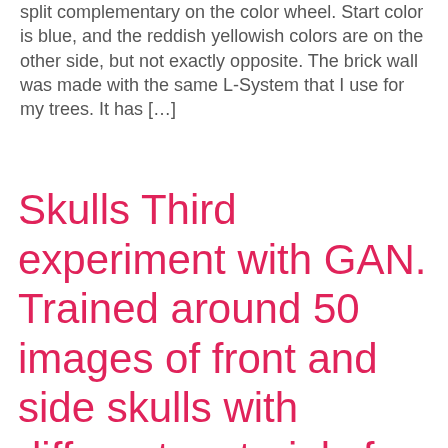split complementary on the color wheel. Start color is blue, and the reddish yellowish colors are on the other side, but not exactly opposite. The brick wall was made with the same L-System that I use for my trees. It has […]
Skulls Third experiment with GAN. Trained around 50 images of front and side skulls with different materials for this one. The machine couldn't draw an exact replica of those real skulls in the amount of training I gave it. It probably needed more time